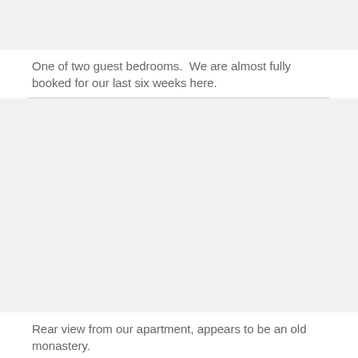[Figure (photo): Top partial image of a guest bedroom (cropped).]
One of two guest bedrooms.  We are almost fully booked for our last six weeks here.
[Figure (photo): Rear view from the apartment showing what appears to be an old monastery building.]
Rear view from our apartment, appears to be an old monastery.
[Figure (photo): Bottom partial image (cropped at page edge).]